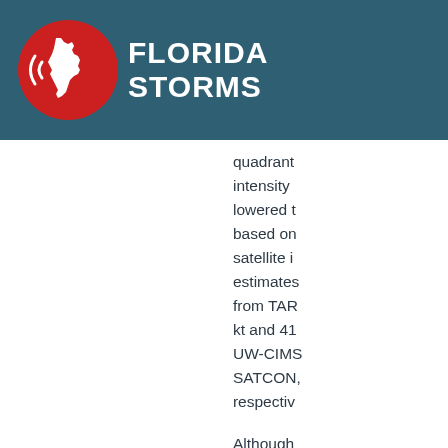FLORIDA STORMS
quadrant intensity lowered based on satellite intensity estimates from TAR kt and 41 UW-CIMS SATCON, respectively.
Although had been southeast 10-11 kt UTC, the recent m